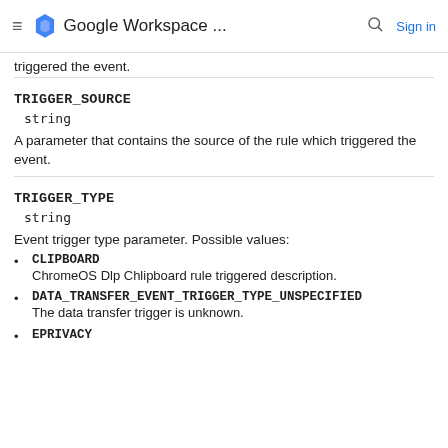Google Workspace ...
triggered the event.
TRIGGER_SOURCE
string
A parameter that contains the source of the rule which triggered the event.
TRIGGER_TYPE
string
Event trigger type parameter. Possible values:
CLIPBOARD
ChromeOS Dlp Chlipboard rule triggered description.
DATA_TRANSFER_EVENT_TRIGGER_TYPE_UNSPECIFIED
The data transfer trigger is unknown.
EPRIVACY